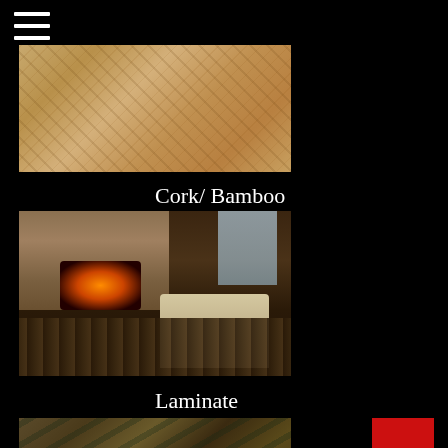[Figure (other): Hamburger menu icon with three white horizontal lines on black background]
[Figure (photo): Cork or bamboo flooring texture close-up, warm tan/golden brown tones]
Cork/ Bamboo
[Figure (photo): Interior room photo with stone fireplace, hardwood laminate floor, white sofa, and window with natural light]
Laminate
[Figure (photo): Partial view of reclaimed wood style flooring with mixed green/brown/tan tones]
[Figure (other): Red square button/icon in bottom right area]